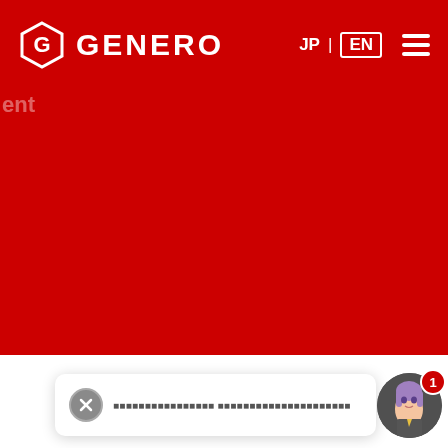[Figure (screenshot): Genero website navigation bar with red background, Genero logo on the left, JP | EN language toggle and hamburger menu on the right]
[Figure (screenshot): Red hero banner section with partial white text 'ent' visible at top left]
[Figure (screenshot): Chat widget at bottom: close X button, Japanese placeholder text message, and anime avatar with red notification badge showing '1']